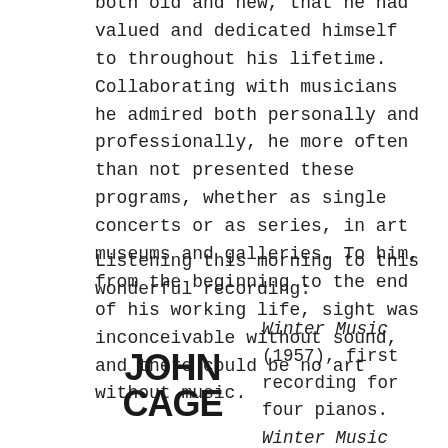both old and new, that he had valued and dedicated himself to throughout his lifetime. Collaborating with musicians he admired both personally and professionally, he more often than not presented these programs, whether as single concerts or as series, in art museums and galleries. To him, from the beginning to the end of his working life, sight was inconceivable without sound, and there could be no art without music.
Listening this morning to this wonderful recording:
[Figure (logo): JOHN CAGE logo in bold uppercase block letters]
Winter Music (1957), first recording for four pianos. Winter Music with